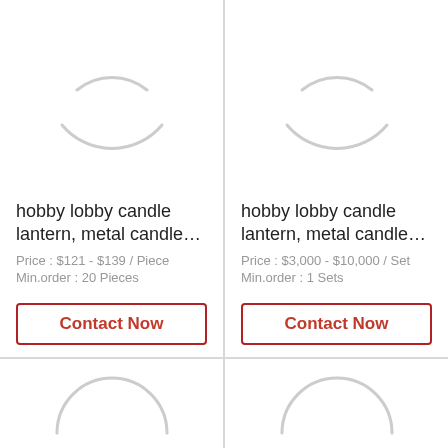[Figure (illustration): Loading spinner / placeholder circle icon for product image - top left card]
hobby lobby candle lantern, metal candle…
Price : $121 - $139 / Piece
Min.order : 20 Pieces
Contact Now
[Figure (illustration): Loading spinner / placeholder circle icon for product image - top right card]
hobby lobby candle lantern, metal candle…
Price : $3,000 - $10,000 / Set
Min.order : 1 Sets
Contact Now
[Figure (illustration): Loading spinner / placeholder circle icon for product image - bottom left card (partial)]
[Figure (illustration): Loading spinner / placeholder circle icon for product image - bottom right card (partial)]